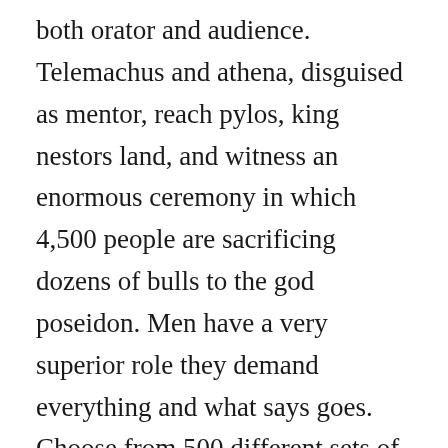both orator and audience. Telemachus and athena, disguised as mentor, reach pylos, king nestors land, and witness an enormous ceremony in which 4,500 people are sacrificing dozens of bulls to the god poseidon. Men have a very superior role they demand everything and what says goes. Choose from 500 different sets of the odyssey odyssey characters book 3 flashcards on quizlet. May not contain every epithet, but lacks very few if any at all perse child of the ocean strea. Odysseia is the second of the two epic poems attributed to the ancient greek